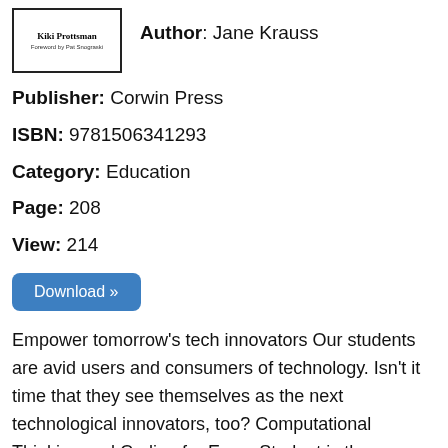[Figure (illustration): Book cover thumbnail showing 'Kiki Prottsman' title with small subtitle text, black border]
Author: Jane Krauss
Publisher: Corwin Press
ISBN: 9781506341293
Category: Education
Page: 208
View: 214
Download »
Empower tomorrow's tech innovators Our students are avid users and consumers of technology. Isn't it time that they see themselves as the next technological innovators, too? Computational Thinking and Coding for Every Student is the beginner's